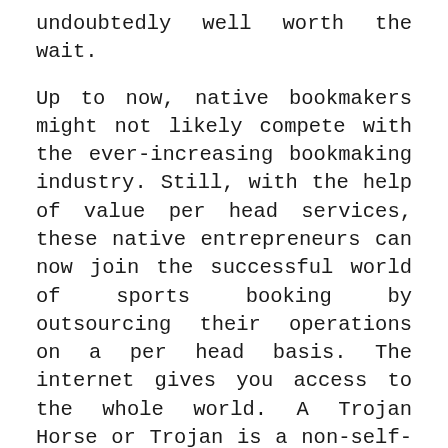undoubtedly well worth the wait.

Up to now, native bookmakers might not likely compete with the ever-increasing bookmaking industry. Still, with the help of value per head services, these native entrepreneurs can now join the successful world of sports booking by outsourcing their operations on a per head basis. The internet gives you access to the whole world. A Trojan Horse or Trojan is a non-self-replicating malware that initially appears to perform a dominoqq specific operation; however, instead, positive aspects of unauthorized access to data in a computer. Racing involves appropriate training, the position of an efficient jockey, and the role of a ready horse. Now we all know he hates folding